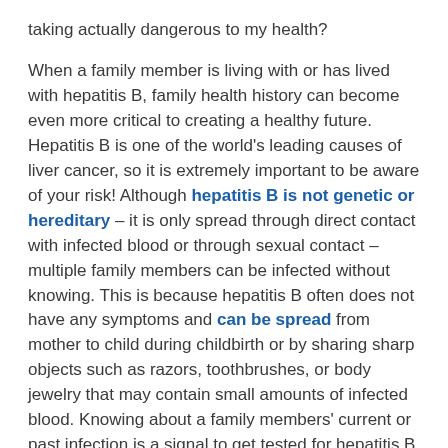taking actually dangerous to my health?
When a family member is living with or has lived with hepatitis B, family health history can become even more critical to creating a healthy future. Hepatitis B is one of the world's leading causes of liver cancer, so it is extremely important to be aware of your risk! Although hepatitis B is not genetic or hereditary – it is only spread through direct contact with infected blood or through sexual contact – multiple family members can be infected without knowing. This is because hepatitis B often does not have any symptoms and can be spread from mother to child during childbirth or by sharing sharp objects such as razors, toothbrushes, or body jewelry that may contain small amounts of infected blood. Knowing about a family members' current or past infection is a signal to get tested for hepatitis B using the 3-panel hepatitis B blood test (HBsAg, HBsAb, HBcAb). Testing is